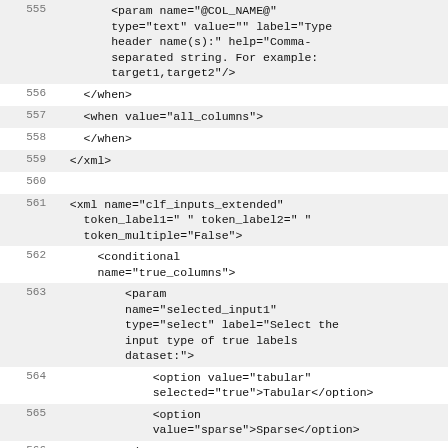555  <param name="@COL_NAME@" type="text" value="" label="Type header name(s):" help="Comma-separated string. For example: target1,target2"/>
556      </when>
557      <when value="all_columns">
558      </when>
559  </xml>
560
561  <xml name="clf_inputs_extended" token_label1=" " token_label2=" " token_multiple="False">
562      <conditional name="true_columns">
563          <param name="selected_input1" type="select" label="Select the input type of true labels dataset:">
564              <option value="tabular" selected="true">Tabular</option>
565              <option value="sparse">Sparse</option>
566          </param>
567          <when value="tabular">
568              <param name="infile1" type="data" label="@LABEL1@"/>
569              <param name="col1" type="data_column" data_ref="infile1" label="Select